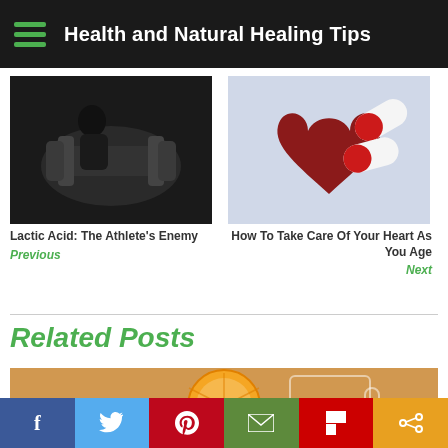Health and Natural Healing Tips
[Figure (photo): Person lifting weights in a dark gym setting]
Lactic Acid: The Athlete's Enemy
Previous
[Figure (photo): Anatomical heart model with red and white pills/capsules]
How To Take Care Of Your Heart As You Age
Next
Related Posts
[Figure (photo): Glass mug with hot drink, orange/lemon slice, on wooden background]
f  Twitter  Pinterest  Email  Flipboard  Share